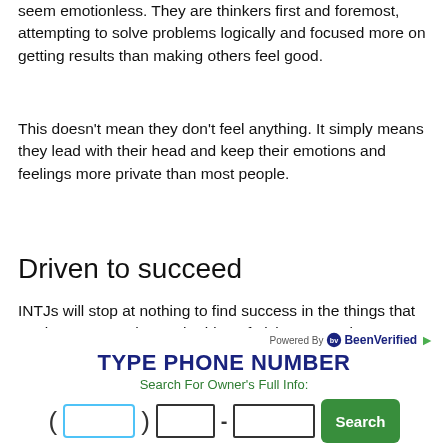seem emotionless. They are thinkers first and foremost, attempting to solve problems logically and focused more on getting results than making others feel good.
This doesn't mean they don't feel anything. It simply means they lead with their head and keep their emotions and feelings more private than most people.
Driven to succeed
INTJs will stop at nothing to find success in the things that are important to them. The idea of giving up rarely occurs to them.
[Figure (infographic): BeenVerified advertisement widget: 'TYPE PHONE NUMBER / Search For Owner's Full Info:' with phone number input fields and a green Search button]